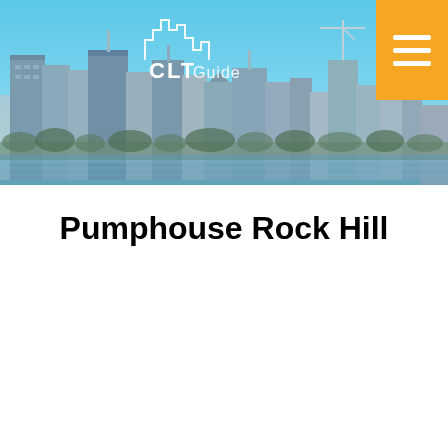[Figure (photo): Charlotte city skyline photo used as header banner with CLT Guide logo overlay and orange hamburger menu button in top right corner]
Pumphouse Rock Hill